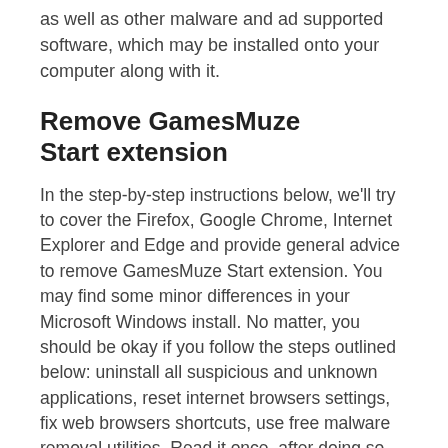as well as other malware and ad supported software, which may be installed onto your computer along with it.
Remove GamesMuze Start extension
In the step-by-step instructions below, we'll try to cover the Firefox, Google Chrome, Internet Explorer and Edge and provide general advice to remove GamesMuze Start extension. You may find some minor differences in your Microsoft Windows install. No matter, you should be okay if you follow the steps outlined below: uninstall all suspicious and unknown applications, reset internet browsers settings, fix web browsers shortcuts, use free malware removal utilities. Read it once, after doing so, please print this page as you may need to exit your web browser or reboot your PC